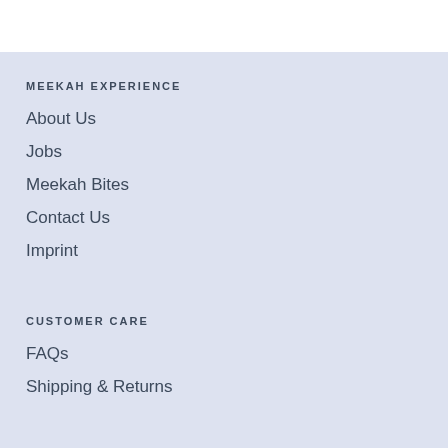MEEKAH EXPERIENCE
About Us
Jobs
Meekah Bites
Contact Us
Imprint
CUSTOMER CARE
FAQs
Shipping & Returns